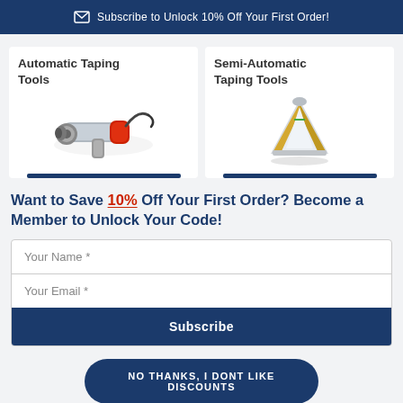Subscribe to Unlock 10% Off Your First Order!
Automatic Taping Tools
[Figure (photo): Red automatic taping tool/gun device]
Semi-Automatic Taping Tools
[Figure (photo): Silver/gold semi-automatic taping corner tool]
Want to Save 10% Off Your First Order? Become a Member to Unlock Your Code!
Your Name *
Your Email *
Subscribe
NO THANKS, I DONT LIKE DISCOUNTS